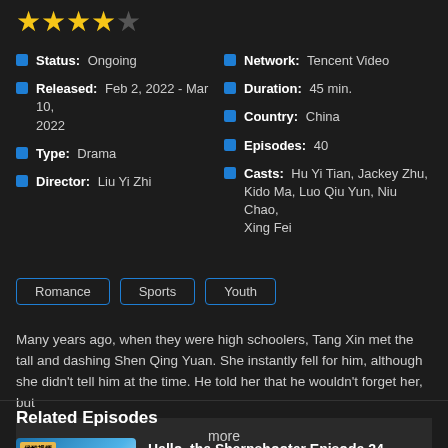[Figure (other): Star rating: 4 out of 5 stars (4 filled, 1 empty)]
Status: Ongoing
Released: Feb 2, 2022 - Mar 10, 2022
Type: Drama
Director: Liu Yi Zhi
Network: Tencent Video
Duration: 45 min.
Country: China
Episodes: 40
Casts: Hu Yi Tian, Jackey Zhu, Kido Ma, Luo Qiu Yun, Niu Chao, Xing Fei
Romance  Sports  Youth
Many years ago, when they were high schoolers, Tang Xin met the tall and dashing Shen Qing Yuan. She instantly fell for him, although she didn't tell him at the time. He told her that he wouldn't forget her, but
more
Related Episodes
Hello, the Sharpshooter Episode 24
Posted by: kissasians